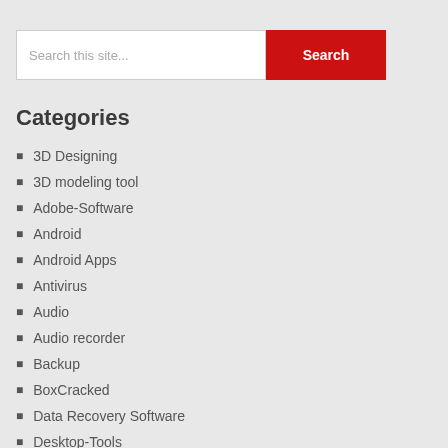[Figure (screenshot): Search bar with text input 'Search this site...' and red Search button]
Categories
3D Designing
3D modeling tool
Adobe-Software
Android
Android Apps
Antivirus
Audio
Audio recorder
Backup
BoxCracked
Data Recovery Software
Desktop-Tools